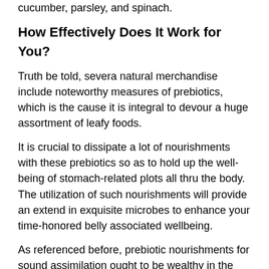cucumber, parsley, and spinach.
How Effectively Does It Work for You?
Truth be told, severa natural merchandise include noteworthy measures of prebiotics, which is the cause it is integral to devour a huge assortment of leafy foods.
It is crucial to dissipate a lot of nourishments with these prebiotics so as to hold up the well-being of stomach-related plots all thru the body. The utilization of such nourishments will provide an extend in exquisite microbes to enhance your time-honored belly associated wellbeing.
As referenced before, prebiotic nourishments for sound assimilation ought to be wealthy in the microbes.
In this manner, it is vital to Peak BioBoost Does It Work burn up nourishments that incorporate a large vary of sorts of prebiotics.
These nourishments comprise vegetables, for example, beans, lentils, cauliflower, spinach, cabbage, broccoli, cabbage, Brussels sprouts, cabbage, carrots, broccoli, Brussel